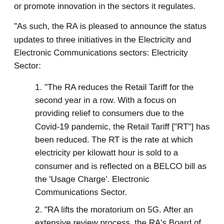or promote innovation in the sectors it regulates.
“As such, the RA is pleased to announce the status updates to three initiatives in the Electricity and Electronic Communications sectors: Electricity Sector:
1. “The RA reduces the Retail Tariff for the second year in a row. With a focus on providing relief to consumers due to the Covid-19 pandemic, the Retail Tariff [“RT”] has been reduced. The RT is the rate at which electricity per kilowatt hour is sold to a consumer and is reflected on a BELCO bill as the ‘Usage Charge’. Electronic Communications Sector.
2. “RA lifts the moratorium on 5G. After an extensive review process, the RA’s Board of